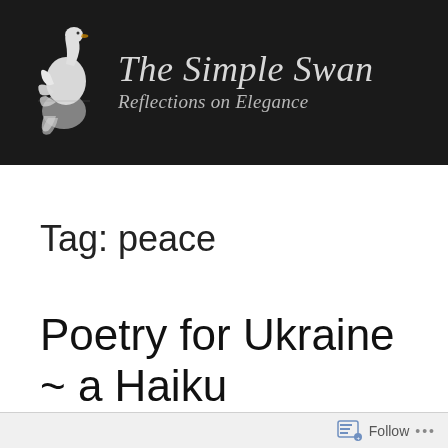[Figure (logo): The Simple Swan blog header — dark background with white swan illustration on the left and italic script text 'The Simple Swan' with subtitle 'Reflections on Elegance']
Tag: peace
Poetry for Ukraine ~ a Haiku
Follow ...